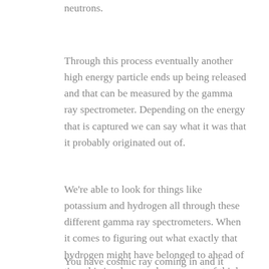neutrons.
Through this process eventually another high energy particle ends up being released and that can be measured by the gamma ray spectrometer. Depending on the energy that is captured we can say what it was that it probably originated out of.
We're able to look for things like potassium and hydrogen all through these different gamma ray spectrometers. When it comes to figuring out what exactly that hydrogen might have belonged to ahead of time this is where we have to sort of think about what we already know about where the data is coming from.
You have cosmic ray coming in and it